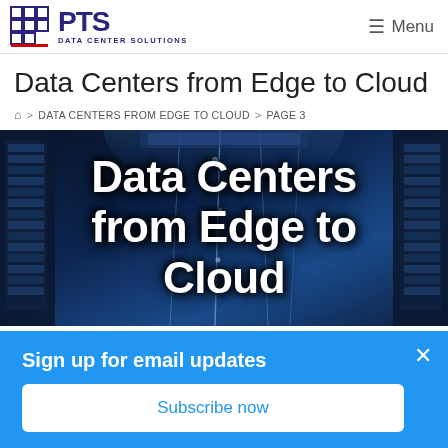PTS Data Center Solutions — Menu
Data Centers from Edge to Cloud
🏠 > DATA CENTERS FROM EDGE TO CLOUD > PAGE 3
[Figure (photo): Dark blue data center server room background with glowing digital light streams and large white bold text overlay reading 'Data Centers from Edge to Cloud']
Sign up for email updates
Subscribe now